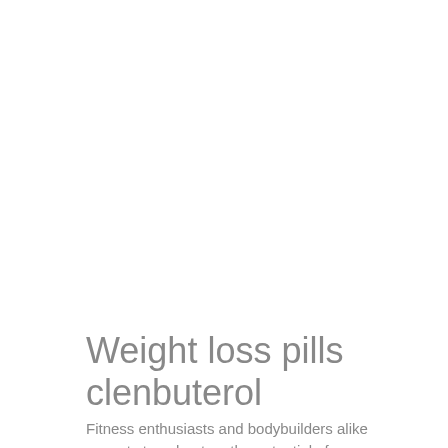Weight loss pills clenbuterol
Fitness enthusiasts and bodybuilders alike cannot stop phantom the potential of